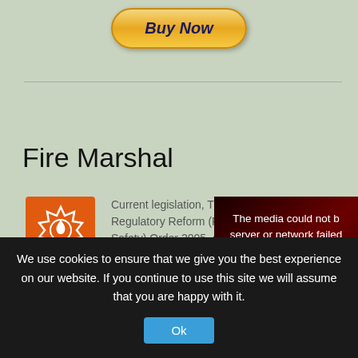[Figure (other): PayPal Buy Now button with gold/yellow gradient background and dark navy bold italic text]
Fire Marshal
[Figure (logo): Orange square icon with white fire/flame badge symbol - Fire Marshal logo]
Click image above for full
Current legislation, The Regulatory Reform (Fire Safety) Order 2005, applies to all workplaces regardless of the number of
[Figure (screenshot): Video player error overlay on dark red/black background reading: The media could not b... server or network failed... su...]
We use cookies to ensure that we give you the best experience on our website. If you continue to use this site we will assume that you are happy with it.